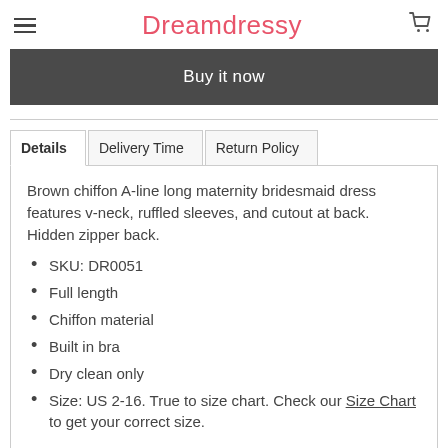Dreamdressy
Buy it now
Brown chiffon A-line long maternity bridesmaid dress features v-neck, ruffled sleeves, and cutout at back. Hidden zipper back.
SKU: DR0051
Full length
Chiffon material
Built in bra
Dry clean only
Size: US 2-16. True to size chart. Check our Size Chart to get your correct size.